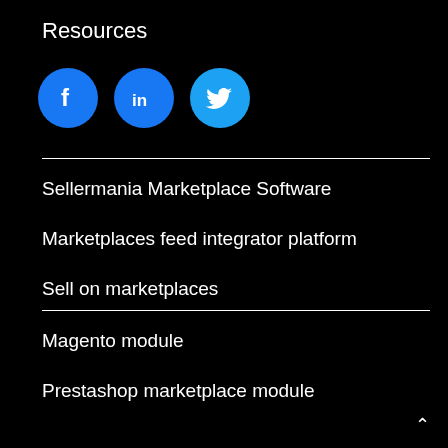Resources
[Figure (illustration): Three social media icon circles: Facebook (blue with f logo), LinkedIn (blue with in logo), Twitter (light blue with bird logo)]
Sellermania Marketplace Software
Marketplaces feed integrator platform
Sell on marketplaces
Magento module
Prestashop marketplace module